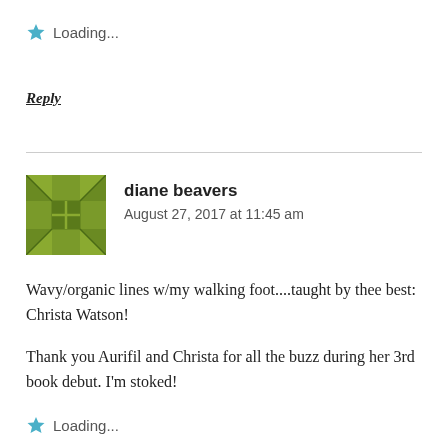Loading...
Reply
[Figure (illustration): Green quilt-block style avatar icon for user diane beavers]
diane beavers
August 27, 2017 at 11:45 am
Wavy/organic lines w/my walking foot....taught by thee best: Christa Watson!
Thank you Aurifil and Christa for all the buzz during her 3rd book debut. I'm stoked!
Loading...